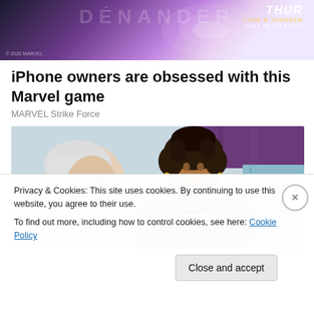[Figure (photo): Thor Love and Thunder movie advertisement banner with purple/pink gradient and Marvel branding]
iPhone owners are obsessed with this Marvel game
MARVEL Strike Force
[Figure (photo): A smiling Black female nurse/healthcare worker in blue scrubs speaking with an elderly white-haired patient]
Privacy & Cookies: This site uses cookies. By continuing to use this website, you agree to their use.
To find out more, including how to control cookies, see here: Cookie Policy
Close and accept